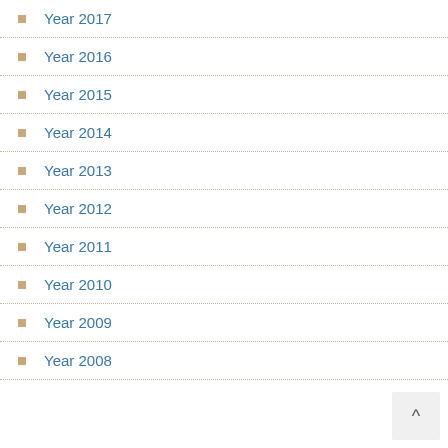Year 2017
Year 2016
Year 2015
Year 2014
Year 2013
Year 2012
Year 2011
Year 2010
Year 2009
Year 2008